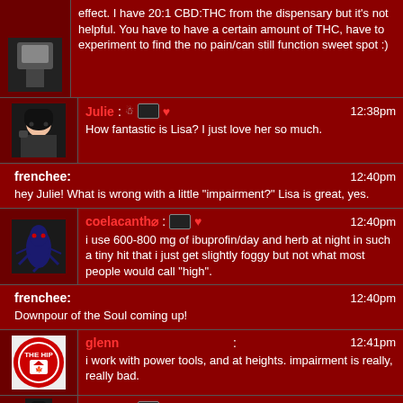effect. I have 20:1 CBD:THC from the dispensary but it's not helpful. You have to have a certain amount of THC, have to experiment to find the no pain/can still function sweet spot :)
Julie: How fantastic is Lisa? I just love her so much. 12:38pm
frenchee: hey Julie! What is wrong with a little "impairment?" Lisa is great, yes. 12:40pm
coelacanth⊘: i use 600-800 mg of ibuprofin/day and herb at night in such a tiny hit that i just get slightly foggy but not what most people would call "high". 12:40pm
frenchee: Downpour of the Soul coming up! 12:40pm
glenn: i work with power tools, and at heights. impairment is really, really bad. 12:41pm
Julie: 12:41pm